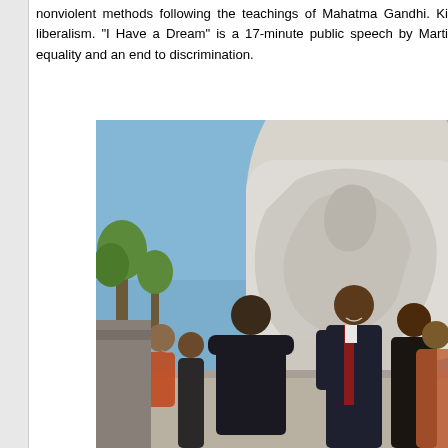nonviolent methods following the teachings of Mahatma Gandhi. Ki liberalism. "I Have a Dream" is a 17-minute public speech by Marti equality and an end to discrimination.
[Figure (photo): People standing in front of a large white stone monument or sculpture. A tall man in a dark suit with a red tie (resembling Barack Obama) stands centrally, smiling, with other individuals including women in colorful clothing gathered around him. The monument behind them is a large white carved stone figure. Trees and blue sky are visible in the background.]